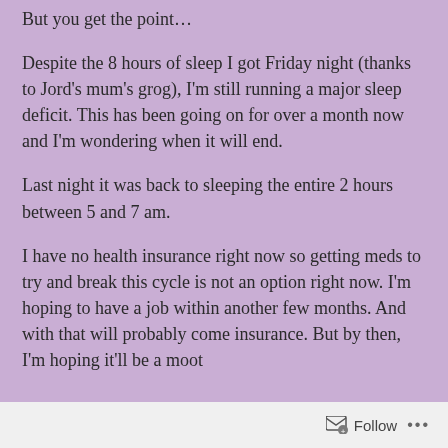But you get the point…
Despite the 8 hours of sleep I got Friday night (thanks to Jord's mum's grog), I'm still running a major sleep deficit. This has been going on for over a month now and I'm wondering when it will end.
Last night it was back to sleeping the entire 2 hours between 5 and 7 am.
I have no health insurance right now so getting meds to try and break this cycle is not an option right now. I'm hoping to have a job within another few months. And with that will probably come insurance. But by then, I'm hoping it'll be a moot